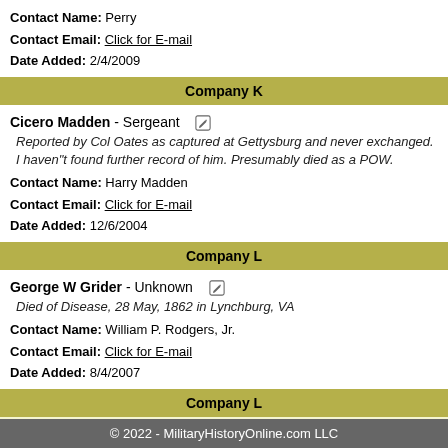Contact Name: Perry
Contact Email: Click for E-mail
Date Added: 2/4/2009
Company K
Cicero Madden - Sergeant
Reported by Col Oates as captured at Gettysburg and never exchanged. I haven"t found further record of him. Presumably died as a POW.
Contact Name: Harry Madden
Contact Email: Click for E-mail
Date Added: 12/6/2004
Company L
George W Grider - Unknown
Died of Disease, 28 May, 1862 in Lynchburg, VA
Contact Name: William P. Rodgers, Jr.
Contact Email: Click for E-mail
Date Added: 8/4/2007
Company L
George Willis Hicks - Private
No Comments
© 2022 - MilitaryHistoryOnline.com LLC